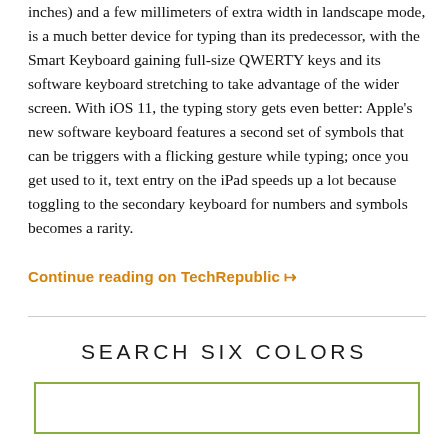inches) and a few millimeters of extra width in landscape mode, is a much better device for typing than its predecessor, with the Smart Keyboard gaining full-size QWERTY keys and its software keyboard stretching to take advantage of the wider screen. With iOS 11, the typing story gets even better: Apple's new software keyboard features a second set of symbols that can be triggers with a flicking gesture while typing; once you get used to it, text entry on the iPad speeds up a lot because toggling to the secondary keyboard for numbers and symbols becomes a rarity.
Continue reading on TechRepublic ↦
SEARCH SIX COLORS